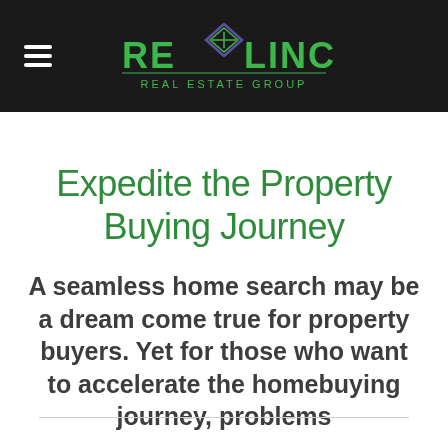[Figure (logo): RE/LINC Real Estate Group logo — green text on dark background with a diamond/house icon]
Expedite the Property Buying Journey
A seamless home search may be a dream come true for property buyers. Yet for those who want to accelerate the homebuying journey, problems